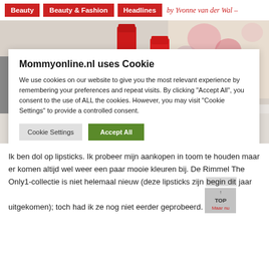Beauty | Beauty & Fashion | Headlines | by Yvonne van der Wal –
[Figure (photo): Photo of lipsticks on a light surface with a cookie consent dialog overlay. The cookie dialog reads: 'Mommyonline.nl uses Cookie'. Text: 'We use cookies on our website to give you the most relevant experience by remembering your preferences and repeat visits. By clicking "Accept All", you consent to the use of ALL the cookies. However, you may visit "Cookie Settings" to provide a controlled consent.' Buttons: 'Cookie Settings' and 'Accept All'.]
Ik ben dol op lipsticks. Ik probeer mijn aankopen in toom te houden maar er komen altijd wel weer een paar mooie kleuren bij. De Rimmel The Only1-collectie is niet helemaal nieuw (deze lipsticks zijn begin dit jaar uitgekomen); toch had ik ze nog niet eerder geprobeerd.